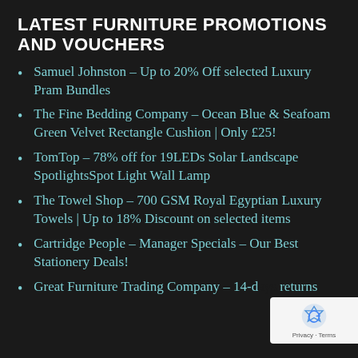LATEST FURNITURE PROMOTIONS AND VOUCHERS
Samuel Johnston – Up to 20% Off selected Luxury Pram Bundles
The Fine Bedding Company – Ocean Blue & Seafoam Green Velvet Rectangle Cushion | Only £25!
TomTop – 78% off for 19LEDs Solar Landscape SpotlightsSpot Light Wall Lamp
The Towel Shop – 700 GSM Royal Egyptian Luxury Towels | Up to 18% Discount on selected items
Cartridge People – Manager Specials – Our Best Stationery Deals!
Great Furniture Trading Company – 14-d... returns